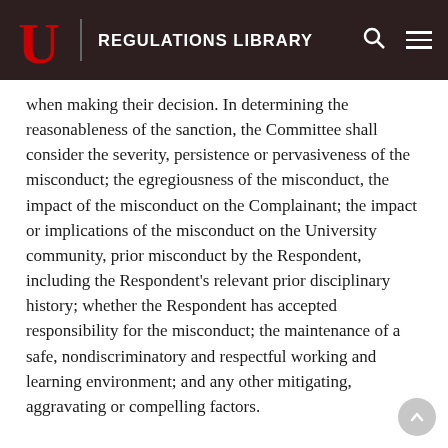REGULATIONS LIBRARY
when making their decision. In determining the reasonableness of the sanction, the Committee shall consider the severity, persistence or pervasiveness of the misconduct; the egregiousness of the misconduct, the impact of the misconduct on the Complainant; the impact or implications of the misconduct on the University community, prior misconduct by the Respondent, including the Respondent's relevant prior disciplinary history; whether the Respondent has accepted responsibility for the misconduct; the maintenance of a safe, nondiscriminatory and respectful working and learning environment; and any other mitigating, aggravating or compelling factors.